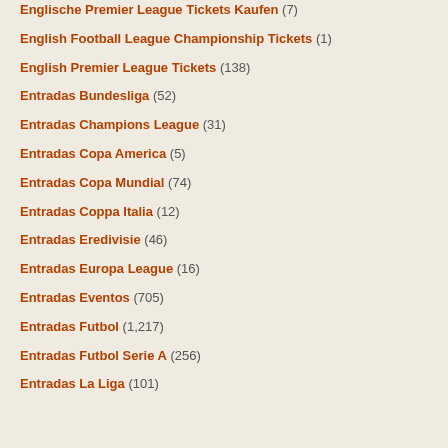Englische Premier League Tickets Kaufen (7)
English Football League Championship Tickets (1)
English Premier League Tickets (138)
Entradas Bundesliga (52)
Entradas Champions League (31)
Entradas Copa America (5)
Entradas Copa Mundial (74)
Entradas Coppa Italia (12)
Entradas Eredivisie (46)
Entradas Europa League (16)
Entradas Eventos (705)
Entradas Futbol (1,217)
Entradas Futbol Serie A (256)
Entradas La Liga (101)